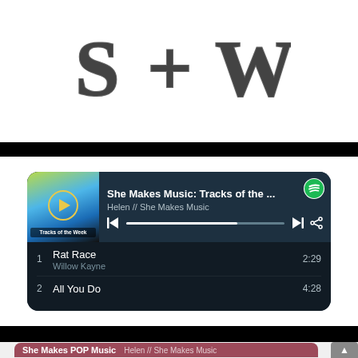[Figure (screenshot): Top portion of a web page showing a stylized text logo/header with decorative typography on white background]
[Figure (screenshot): Spotify playlist widget for 'She Makes Music: Tracks of the ...' by Helen // She Makes Music, showing track list: 1. Rat Race by Willow Kayne (2:29), 2. All You Do (4:28), with teal/dark UI and playback controls]
[Figure (screenshot): Spotify playlist widget for 'She Makes POP Music' by Helen // She Makes Music, with pink/mauve UI, partially visible]